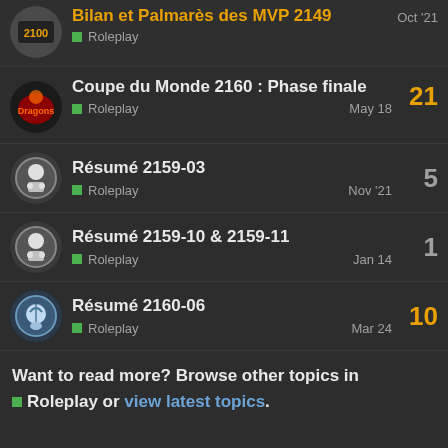Bilan et Palmarès des MVP 2149 — Roleplay — Oct '21
Coupe du Monde 2160 : Phase finale — Roleplay — May 18 — 21 replies
Résumé 2159-03 — Roleplay — Nov '21 — 5 replies
Résumé 2159-10 & 2159-11 — Roleplay — Jan 14 — 1 reply
Résumé 2160-06 — Roleplay — Mar 24 — 10 replies
Want to read more? Browse other topics in Roleplay or view latest topics.